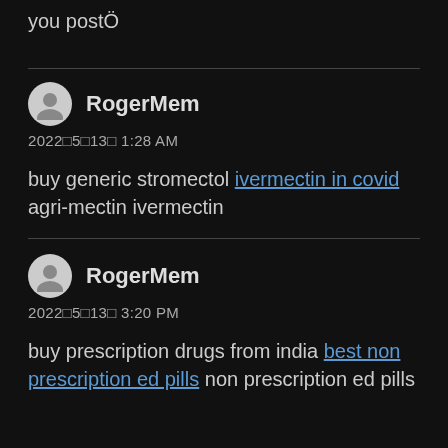you postÖ
RogerMem
2022□5□13□ 1:28 AM
buy generic stromectol ivermectin in covid agri-mectin ivermectin
RogerMem
2022□5□13□ 3:20 PM
buy prescription drugs from india best non prescription ed pills non prescription ed pills